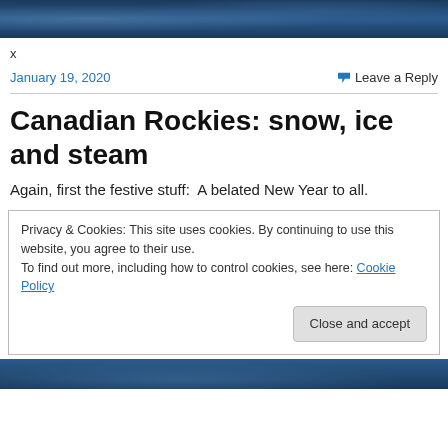[Figure (photo): Dark blue winter landscape header image with ice/snow texture]
x
January 19, 2020    Leave a Reply
Canadian Rockies: snow, ice and steam
Again, first the festive stuff:  A belated New Year to all.
Privacy & Cookies: This site uses cookies. By continuing to use this website, you agree to their use.
To find out more, including how to control cookies, see here: Cookie Policy
Close and accept
[Figure (photo): Dark blue winter mountain landscape at bottom]